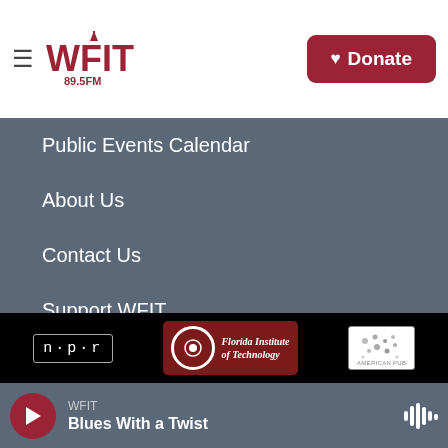[Figure (logo): WFIT 89.5FM radio station logo in dark red]
[Figure (other): Donate button with heart icon in dark red]
Public Events Calendar
About Us
Contact Us
Support WFIT
Florida Tech
[Figure (logo): NPR logo in white text with border]
[Figure (logo): Florida Institute of Technology logo on dark red background]
[Figure (logo): American Public Media logo with dot pattern]
WFIT Blues With a Twist